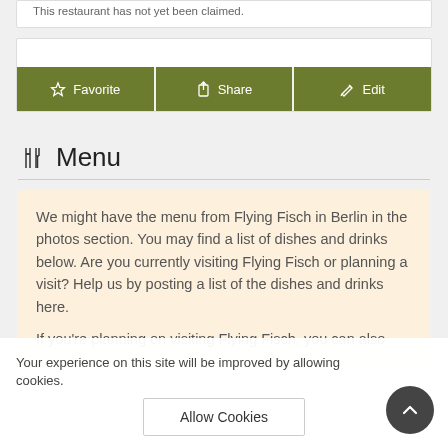This restaurant has not yet been claimed.
[Figure (other): Three buttons: Favorite, Share, Edit with olive green background]
Menu
We might have the menu from Flying Fisch in Berlin in the photos section. You may find a list of dishes and drinks below. Are you currently visiting Flying Fisch or planning a visit? Help us by posting a list of the dishes and drinks here.
If you're planning on visiting Flying Fisch, you can also...
Your experience on this site will be improved by allowing cookies. Allow Cookies